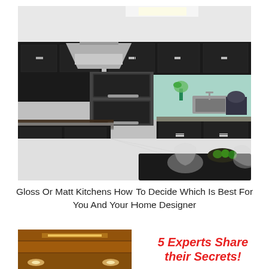[Figure (photo): Modern kitchen with dark gloss cabinets, stainless steel range hood, double ovens, teal/green glass backsplash, marble countertops, and clear acrylic chairs at a dark dining table in foreground]
Gloss Or Matt Kitchens How To Decide Which Is Best For You And Your Home Designer
[Figure (photo): Close-up of warm-lit wooden ceiling with recessed lighting and LED strip detail]
5 Experts Share their Secrets!